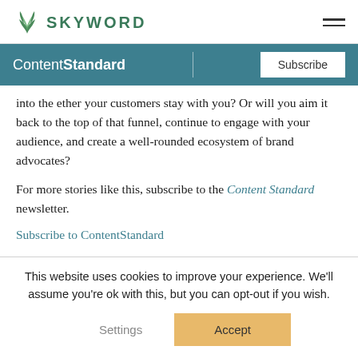SKYWORD
ContentStandard
into the ether... your customers stay with you? Or will you aim it back to the top of that funnel, continue to engage with your audience, and create a well-rounded ecosystem of brand advocates?
For more stories like this, subscribe to the Content Standard newsletter.
Subscribe to ContentStandard
This website uses cookies to improve your experience. We'll assume you're ok with this, but you can opt-out if you wish.